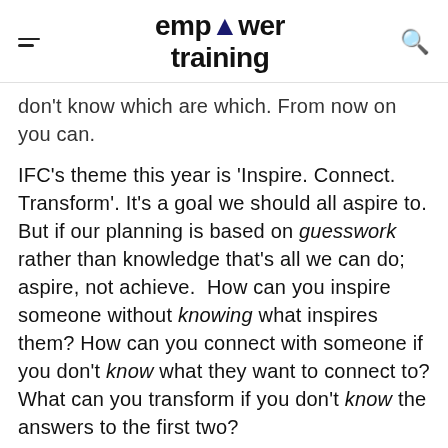empower training
don't know which are which. From now on you can.
IFC's theme this year is 'Inspire. Connect. Transform'. It's a goal we should all aspire to. But if our planning is based on guesswork rather than knowledge that's all we can do; aspire, not achieve. How can you inspire someone without knowing what inspires them? How can you connect with someone if you don't know what they want to connect to? What can you transform if you don't know the answers to the first two?
But thanks to this study you'll soon know everything that is wrong with our retention programmes and how to put them right.